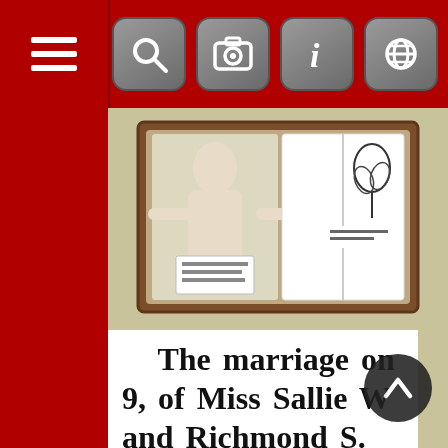[Figure (screenshot): Mobile app interface screenshot showing a top navigation bar with hamburger menu icon on the left and four icon buttons (search, camera, info, globe) on the right, all on a dark red background.]
[Figure (photo): Photograph of a framed display with a religious figure (Jesus with outstretched hands) and an open book or document inside a wooden frame on a beige background.]
The marriage on 9, of Miss Sallie W and Richmond S. formed at the resid parents, Mr. and Mr at Yanceyville by t rell. The vows were s in the morning which was deco rangements of wh